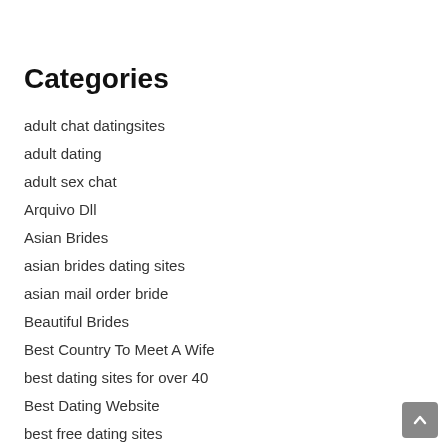Categories
adult chat datingsites
adult dating
adult sex chat
Arquivo Dll
Asian Brides
asian brides dating sites
asian mail order bride
Beautiful Brides
Best Country To Meet A Wife
best dating sites for over 40
Best Dating Website
best free dating sites
best hookup dating sites
Best Marriage Dating Sites
best russia order brides